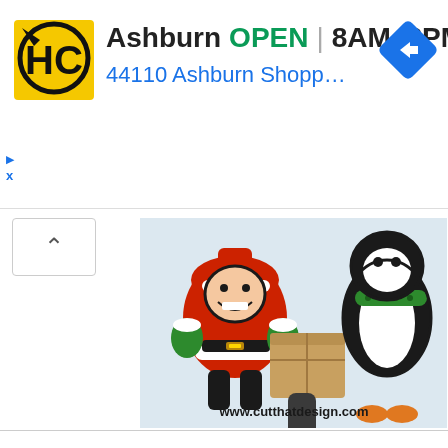[Figure (screenshot): Google ad banner for Hobby Craft (HC) store in Ashburn, showing yellow/black HC logo, store hours OPEN 8AM-8PM in green, address 44110 Ashburn Shopping Plaz... in blue, and a blue navigation diamond arrow icon on the right. Below the ad banner is a small up-arrow scroll button, and a product image showing Christmas-themed foam/paper craft figurines (Santa Claus, a brown figure, and a penguin with scarf) on a light blue background with www.cutthatdesign.com watermark.]